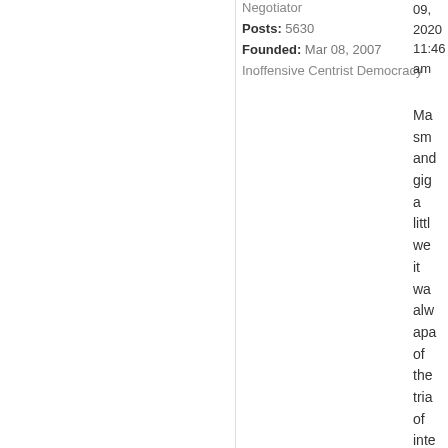Negotiator
09, 2020 11:46 am
Posts: 5630
Founded: Mar 08, 2007
Inoffensive Centrist Democracy
Ma sm and gig a littl we it wa alw apa of the tria of inte tra wa wo thr con ga